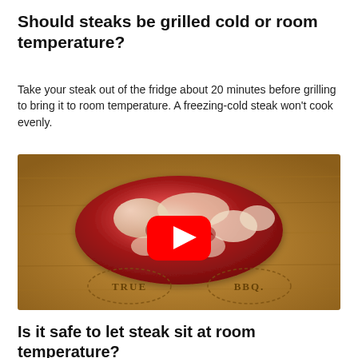Should steaks be grilled cold or room temperature?
Take your steak out of the fridge about 20 minutes before grilling to bring it to room temperature. A freezing-cold steak won't cook evenly.
[Figure (photo): A raw marbled ribeye steak on a wooden cutting board branded with 'TRUE BBQ', with a YouTube play button overlay indicating a video thumbnail.]
Is it safe to let steak sit at room temperature?